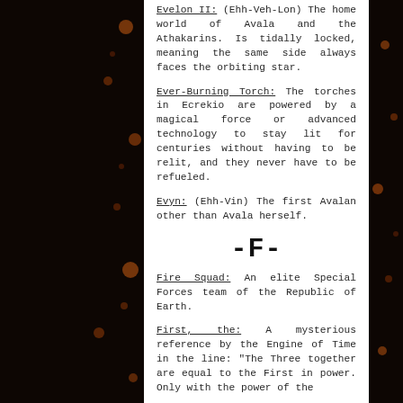Evelon II: (Ehh-Veh-Lon) The home world of Avala and the Athakarins. Is tidally locked, meaning the same side always faces the orbiting star.
Ever-Burning Torch: The torches in Ecrekio are powered by a magical force or advanced technology to stay lit for centuries without having to be relit, and they never have to be refueled.
Evyn: (Ehh-Vin) The first Avalan other than Avala herself.
-F-
Fire Squad: An elite Special Forces team of the Republic of Earth.
First, the: A mysterious reference by the Engine of Time in the line: "The Three together are equal to the First in power. Only with the power of the